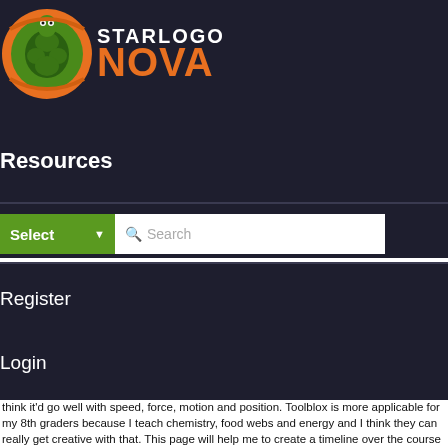[Figure (logo): StarLogo Nova logo with green turtle icon and orange NOVA text on dark background]
Resources
Select  Search
Register
Login
think it'd go well with speed, force, motion and position.  Toolblox is more applicable for my 8th graders because I teach chemistry, food webs and energy and I think they can really get creative with that.  This page will help me to create a timeline over the course of the year so that my students gain the knowledge and skills to use Toolblox.
September - 1.  Fastest way to enter the classroom (traffic jam theory),  2. What is a model?  Why is it useful? (Draw first, make prototype),  3.  Using instructions to communicate (programming),  4. Using symbols to communicate (video game "X" button means act/do in all systems, have